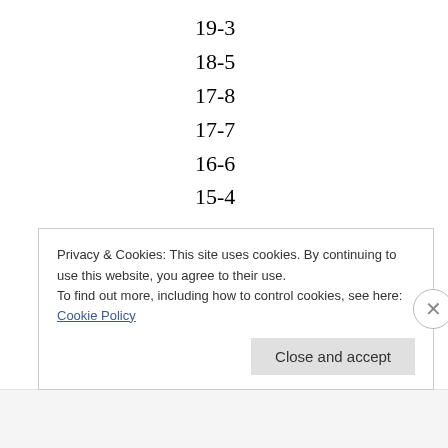19-3
18-5
17-8
17-7
16-6
15-4
and a bunch of other seasons.
He has a very impressive career winning percentage. A pitcher’s win total isn’t valued as much as it used to be, but his win percentage
Privacy & Cookies: This site uses cookies. By continuing to use this website, you agree to their use.
To find out more, including how to control cookies, see here: Cookie Policy
Close and accept